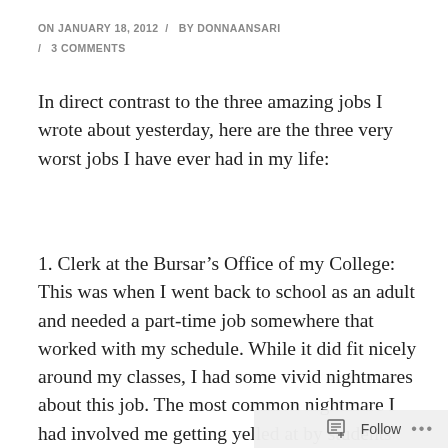ON JANUARY 18, 2012 / BY DONNAANSARI / 3 COMMENTS
In direct contrast to the three amazing jobs I wrote about yesterday, here are the three very worst jobs I have ever had in my life:
1. Clerk at the Bursar’s Office of my College: This was when I went back to school as an adult and needed a part-time job somewhere that worked with my schedule. While it did fit nicely around my classes, I had some vivid nightmares about this job. The most common nightmare I had involved me getting yelled at by students who were angry when they were dropped from classes due to not paying their tuition. I would